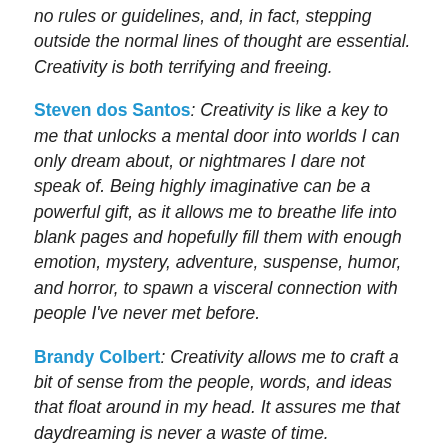no rules or guidelines, and, in fact, stepping outside the normal lines of thought are essential. Creativity is both terrifying and freeing.
Steven dos Santos: Creativity is like a key to me that unlocks a mental door into worlds I can only dream about, or nightmares I dare not speak of. Being highly imaginative can be a powerful gift, as it allows me to breathe life into blank pages and hopefully fill them with enough emotion, mystery, adventure, suspense, humor, and horror, to spawn a visceral connection with people I've never met before.
Brandy Colbert: Creativity allows me to craft a bit of sense from the people, words, and ideas that float around in my head. It assures me that daydreaming is never a waste of time.